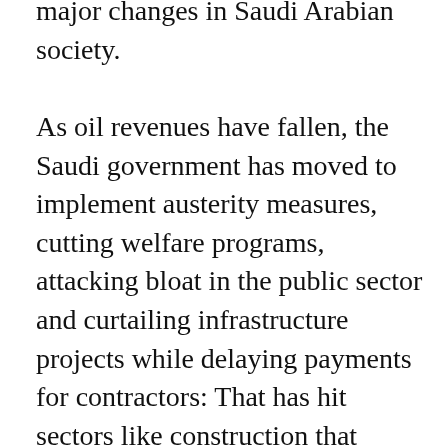major changes in Saudi Arabian society.

As oil revenues have fallen, the Saudi government has moved to implement austerity measures, cutting welfare programs, attacking bloat in the public sector and curtailing infrastructure projects while delaying payments for contractors: That has hit sectors like construction that employ millions of low-paid workers.